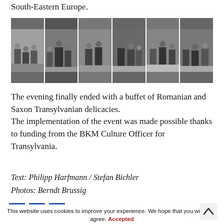South-Eastern Europe.
[Figure (photo): A strip of six event photographs showing groups of people in formal business attire at what appears to be a signing or reception event.]
The evening finally ended with a buffet of Romanian and Saxon Transylvanian delicacies. The implementation of the event was made possible thanks to funding from the BKM Culture Officer for Transylvania.
Text: Philipp Harfmann / Stefan Bichler
Photos: Berndt Brussig
This website uses cookies to improve your experience. We hope that you will agree. Accepted